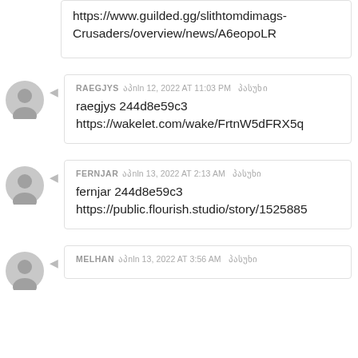https://www.guilded.gg/slithtomdimags-Crusaders/overview/news/A6eopoLR
RAEGJYS აპნln 12, 2022 AT 11:03 PM პასუხი
raegjys 244d8e59c3
https://wakelet.com/wake/FrtnW5dFRX5q
FERNJAR აპნln 13, 2022 AT 2:13 AM პასუხი
fernjar 244d8e59c3
https://public.flourish.studio/story/1525885
MELHAN აპნln 13, 2022 AT 3:56 AM პასუხი